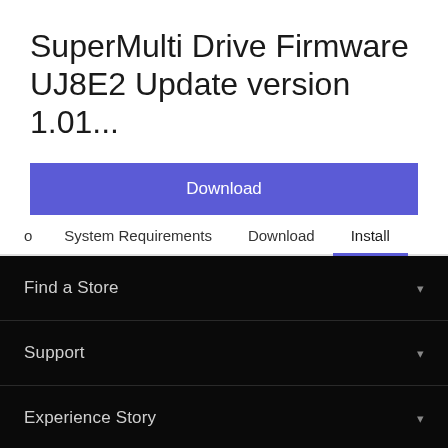SuperMulti Drive Firmware UJ8E2 Update version 1.01...
Download
o  System Requirements  Download  Install
Find a Store
Support
Experience Story
News & Info